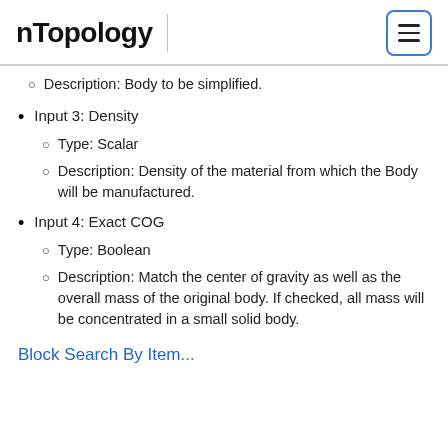nTopology
Description: Body to be simplified.
Input 3: Density
Type: Scalar
Description: Density of the material from which the Body will be manufactured.
Input 4: Exact COG
Type: Boolean
Description: Match the center of gravity as well as the overall mass of the original body. If checked, all mass will be concentrated in a small solid body.
Block Search By Item...